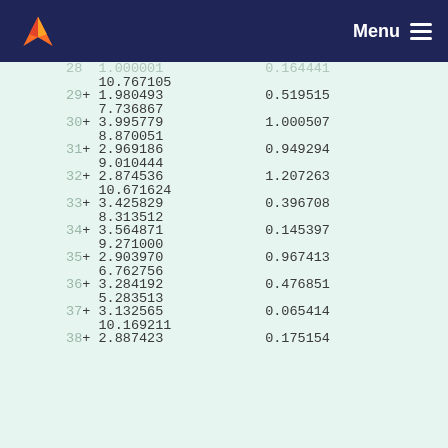Menu
| line | value1 | value2 |
| --- | --- | --- |
|  | 10.767105 |  |
| 29 | + 1.980493 | 0.519515 |
|  | 7.736867 |  |
| 30 | + 3.995779 | 1.000507 |
|  | 8.870051 |  |
| 31 | + 2.969186 | 0.949294 |
|  | 9.010444 |  |
| 32 | + 2.874536 | 1.207263 |
|  | 10.671624 |  |
| 33 | + 3.425829 | 0.396708 |
|  | 8.313512 |  |
| 34 | + 3.564871 | 0.145397 |
|  | 9.271000 |  |
| 35 | + 2.903970 | 0.967413 |
|  | 6.762756 |  |
| 36 | + 3.284192 | 0.476851 |
|  | 5.283513 |  |
| 37 | + 3.132565 | 0.065414 |
|  | 10.169211 |  |
| 38 | + 2.887423 | 0.175154 |